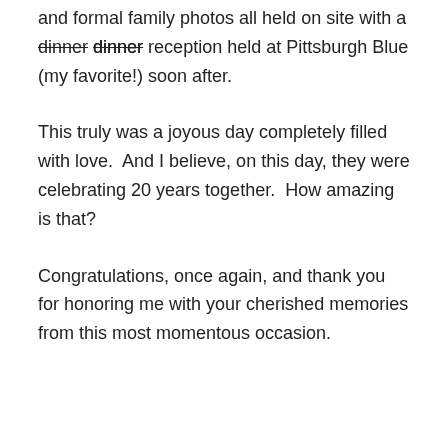and formal family photos all held on site with a dinner reception held at Pittsburgh Blue (my favorite!) soon after.
This truly was a joyous day completely filled with love.  And I believe, on this day, they were celebrating 20 years together.  How amazing is that?
Congratulations, once again, and thank you for honoring me with your cherished memories from this most momentous occasion.